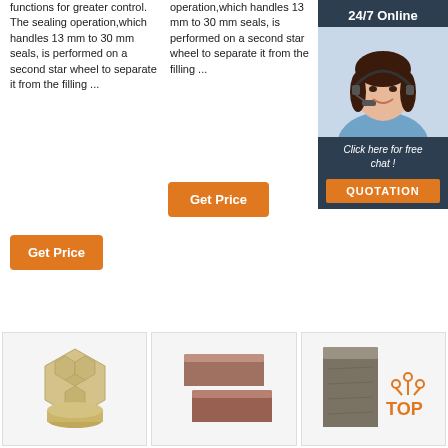functions for greater control. The sealing operation,which handles 13 mm to 30 mm seals, is performed on a second star wheel to separate it from the filling ...
operation,which handles 13 mm to 30 mm seals, is performed on a second star wheel to separate it from the filling ...
door must be 1.2 - 3.5 cm for the door stop to function. Materials & care
[Figure (photo): Customer service representative with headset, smiling, with '24/7 Online' header and 'Click here for free chat! QUOTATION' button on dark background sidebar]
[Figure (photo): Honeycomb ceramic refractory brick product]
[Figure (photo): Two red/brown rectangular bricks stacked]
[Figure (photo): Stone/rock brick with TOP logo badge]